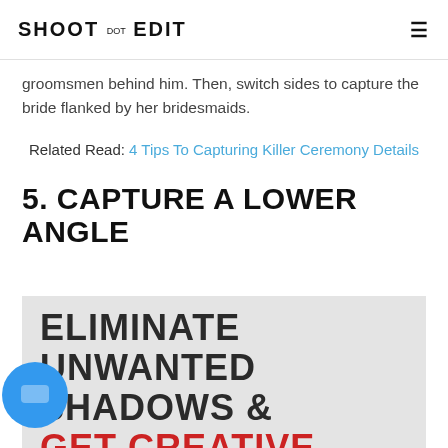SHOOT DOT EDIT
groomsmen behind him. Then, switch sides to capture the bride flanked by her bridesmaids.
Related Read: 4 Tips To Capturing Killer Ceremony Details
5. CAPTURE A LOWER ANGLE
[Figure (infographic): Infographic with bold uppercase text reading: ELIMINATE UNWANTED SHADOWS & GET CREATIVE (last line in red)]